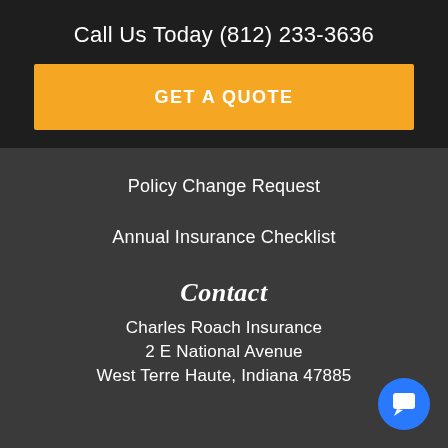Call Us Today (812) 233-3636
GET A QUOTE
Policy Change Request
Annual Insurance Checklist
Contact
Charles Roach Insurance
2 E National Avenue
West Terre Haute, Indiana 47885